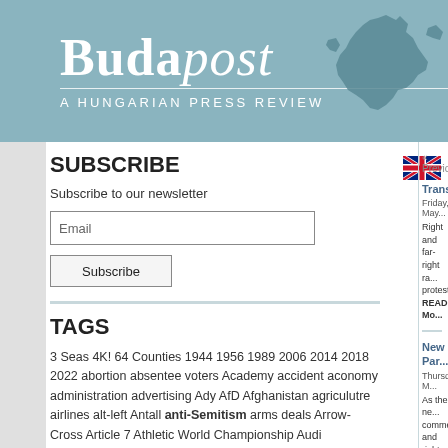Budapost — A Hungarian Press Review
[Figure (logo): Budapost logo with stylized italic 'post' text and Europe map silhouette on teal/blue-grey background, with tagline 'A HUNGARIAN PRESS REVIEW']
[Figure (illustration): UK flag icon in upper right of content area]
SUBSCRIBE
Subscribe to our newsletter
Email
Subscribe
TAGS
3 Seas 4K! 64 Counties 1944 1956 1989 2006 2014 2018 2022 abortion absentee voters Academy accident aconomy administration advertising Ady AfD Afghanistan agriculutre airlines alt-left Antall anti-Semitism arms deals Arrow-Cross Article 7 Athletic World Championship Audi
« Previous...
Transbo...
Friday, May...
Right and far-right ra... protesters... READ Mo...
New Par...
Thursday, M...
As the ne... commenta... and right...